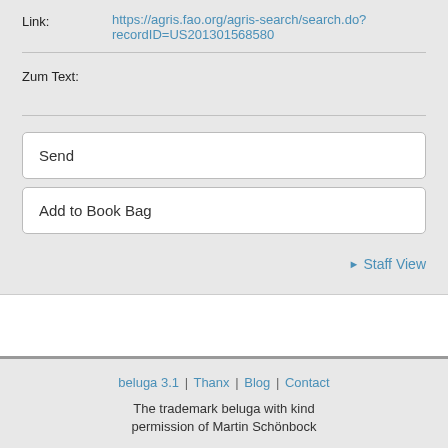Link: https://agris.fao.org/agris-search/search.do?recordID=US201301568580
Zum Text:
Send
Add to Book Bag
▶ Staff View
beluga 3.1 | Thanx | Blog | Contact
The trademark beluga with kind permission of Martin Schönbock